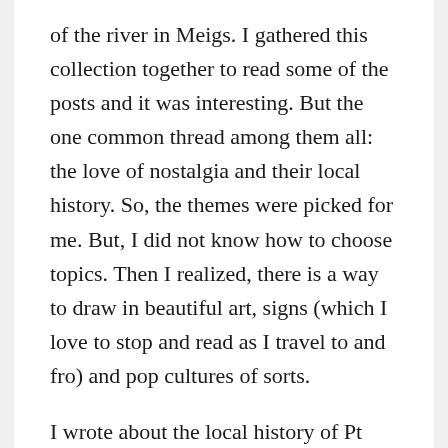of the river in Meigs. I gathered this collection together to read some of the posts and it was interesting. But the one common thread among them all: the love of nostalgia and their local history. So, the themes were picked for me. But, I did not know how to choose topics. Then I realized, there is a way to draw in beautiful art, signs (which I love to stop and read as I travel to and fro) and pop cultures of sorts.
I wrote about the local history of Pt Pleasant, WV. The battle that raged there as it was told through the murals at the Riverfront Park. Such beautiful, vivid colors played out the history of the are before my very eyes. on the murals created by the artists of Dafford Murals. I took pictures, went home and